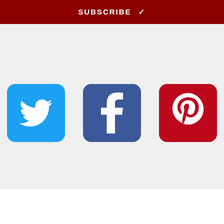[Figure (other): Dark red subscribe bar with SUBSCRIBE text and checkmark icon in white]
[Figure (other): Three social media icon buttons: Twitter (blue), Facebook (dark blue), Pinterest (red)]
[Figure (logo): Ezoic logo with green shield icon and ezoic text, with report this ad link on the right]